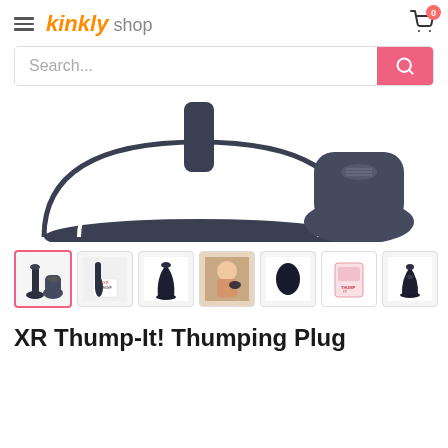kinkly shop
Search...
[Figure (photo): Close-up product photo of a dark navy/charcoal silicone butt plug base and a remote control device, shown against white background]
[Figure (photo): Thumbnail strip of 7 product images: (1) active - two items plug and remote, (2) plug with text overlay, (3) plug standing upright, (4) woman holding item, (5) oval remote control, (6) product box packaging, (7) plug from side angle]
XR Thump-It! Thumping Plug